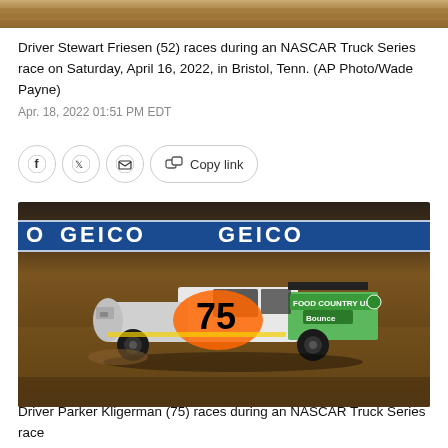[Figure (photo): Top portion of a NASCAR race photo showing dirt track surface, cropped at top of page]
Driver Stewart Friesen (52) races during an NASCAR Truck Series race on Saturday, April 16, 2022, in Bristol, Tenn. (AP Photo/Wade Payne)
Apr. 18, 2022 01:51 PM EDT
[Figure (screenshot): Social sharing bar with Facebook, Twitter, email, copy link icons]
[Figure (photo): NASCAR Truck number 75 driven by Parker Kligerman with Food Country USA / Bounce sponsorship racing on dirt track at Bristol with GEICO banner in background]
Driver Parker Kligerman (75) races during an NASCAR Truck Series race